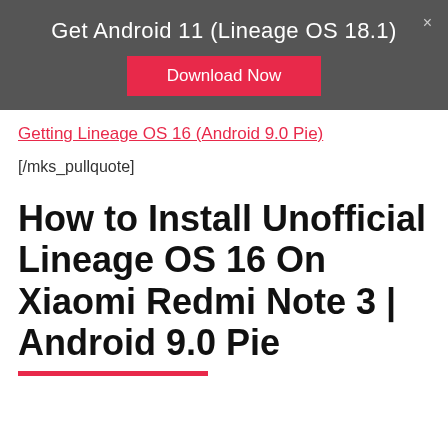Get Android 11 (Lineage OS 18.1)
Download Now
Getting Lineage OS 16 (Android 9.0 Pie)
[/mks_pullquote]
How to Install Unofficial Lineage OS 16 On Xiaomi Redmi Note 3 | Android 9.0 Pie